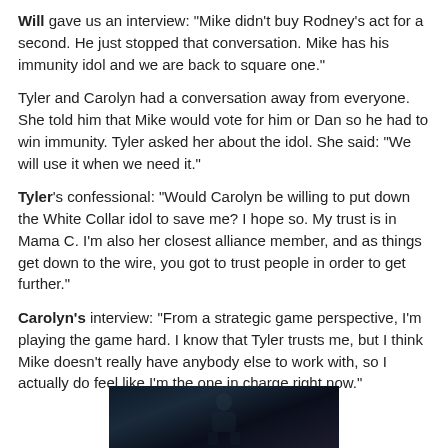Will gave us an interview: “Mike didn’t buy Rodney’s act for a second.  He just stopped that conversation.  Mike has his immunity idol and we are back to square one.”
Tyler and Carolyn had a conversation away from everyone.  She told him that Mike would vote for him or Dan so he had to win immunity.  Tyler asked her about the idol.  She said: “We will use it when we need it.”
Tyler’s confessional: “Would Carolyn be willing to put down the White Collar idol to save me?  I hope so.  My trust is in Mama C.  I’m also her closest alliance member, and as things get down to the wire, you got to trust people in order to get further.”
Carolyn’s interview: “From a strategic game perspective, I’m playing the game hard.  I know that Tyler trusts me, but I think Mike doesn’t really have anybody else to work with, so I actually do feel like I’m the one in charge right now.”
[Figure (photo): Dark photo strip showing a dimly lit scene, partially visible at the bottom of the page]